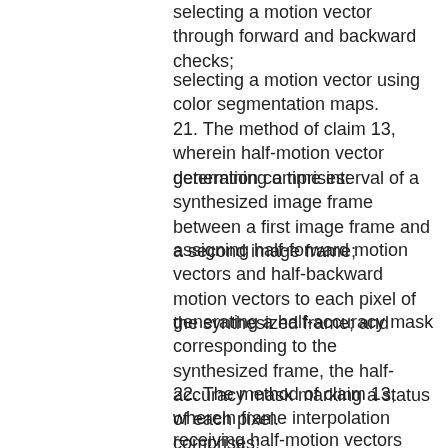selecting a motion vector through forward and backward checks;
selecting a motion vector using color segmentation maps.
21. The method of claim 13, wherein half-motion vector generation comprises:
determining a time interval of a synthesized image frame between a first image frame and a second image frame;
assigning half-forward motion vectors and half-backward motion vectors to each pixel of the synthesized frame; and
generating a half-accuracy mask corresponding to the synthesized frame, the half-accuracy mask marking a status of each pixel.
22. The method of claim 13, wherein frame interpolation comprises:
receiving half-motion vectors and half-accuracy masks generated from at least two image frames;
creating a synthesized frame based, at least in part, on the half-motion